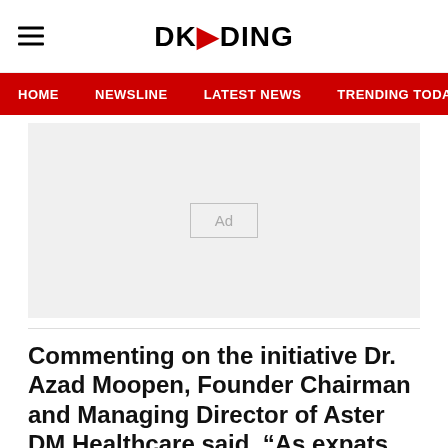DKODING
HOME   NEWSLINE   LATEST NEWS   TRENDING TODAY   ENT
[Figure (other): Advertisement placeholder box with 'Ad' label on grey background]
Commenting on the initiative Dr. Azad Moopen, Founder Chairman and Managing Director of Aster DM Healthcare said. “As expats we are